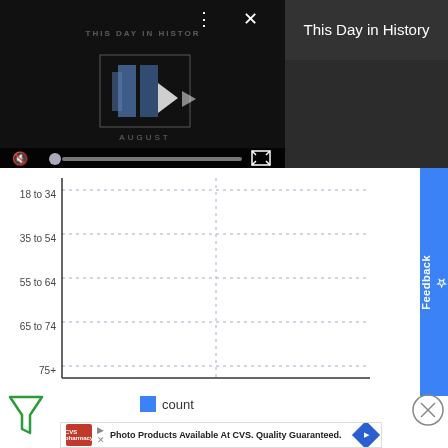[Figure (screenshot): Video player showing 'This Day in History' content with play button, mute icon, progress bar, and fullscreen button on dark background]
This Day in History
[Figure (continuous-plot): Horizontal bar chart with age group categories (18 to 34, 35 to 54, 55 to 64, 65 to 74, 75+) on y-axis, showing count data. Bars appear empty/not rendered. Dotted horizontal gridlines visible.]
count
[Figure (logo): CVS Pharmacy advertisement: 'Photo Products Available At CVS. Quality Guaranteed.' with CVS logo and blue diamond arrow icon]